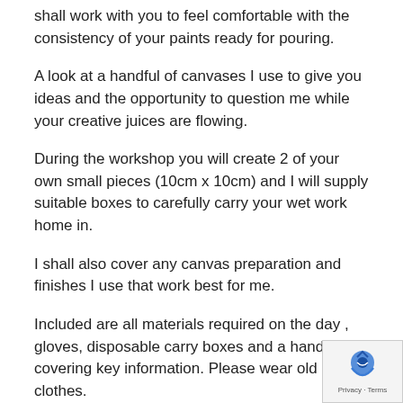shall work with you to feel comfortable with the consistency of your paints ready for pouring.
A look at a handful of canvases I use to give you ideas and the opportunity to question me while your creative juices are flowing.
During the workshop you will create 2 of your own small pieces (10cm x 10cm) and I will supply suitable boxes to carefully carry your wet work home in.
I shall also cover any canvas preparation and finishes I use that work best for me.
Included are all materials required on the day , gloves, disposable carry boxes and a handout covering key information. Please wear old clothes.
Please note …. This is very much a introduction to the art form of acrylic pouring, you will not leave feeling